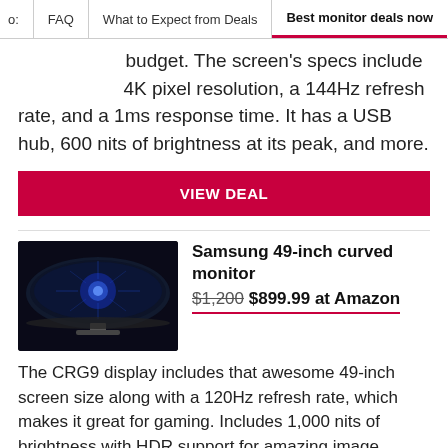o: FAQ | What to Expect from Deals | Best monitor deals now
budget. The screen's specs include 4K pixel resolution, a 144Hz refresh rate, and a 1ms response time. It has a USB hub, 600 nits of brightness at its peak, and more.
VIEW DEAL
Samsung 49-inch curved monitor $1,200 $899.99 at Amazon
[Figure (photo): Samsung 49-inch curved monitor CRG9 with wide ultrawide screen on a stand, dark background with blue circuit pattern]
The CRG9 display includes that awesome 49-inch screen size along with a 120Hz refresh rate, which makes it great for gaming. Includes 1,000 nits of brightness with HDR support for amazing image quality.